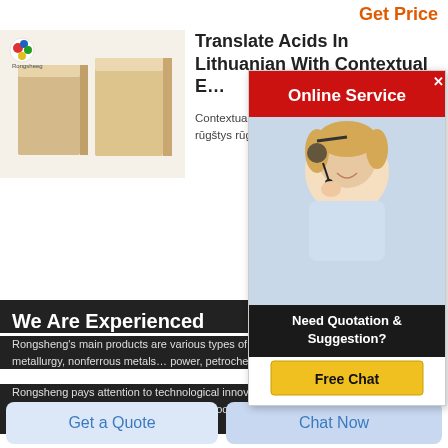Get Price
[Figure (photo): Two rectangular light-tan firebricks/refractory bricks side by side on white background, with Rongsheeg logo in top-left corner]
Translate Acids In Lithuanian With Contextual Examples
Contextual translation of acids into Lithuanian. Human translations with examples: rūgštys rūgštis rūgš
[Figure (photo): Advertisement overlay: red bar with 'Online Service' text, photo of smiling woman with headset, dark bar with 'Need Quotation & Suggestion?', yellow 'Free Chat' button]
We Are Experienced
Rongsheng's main products are various types of unshaped refractory materials, which are widely used in metallurgy, nonferrous metals, building materials, power, petrochemical and other industries.
Rongsheng pays attention to technological innovation and product research and development, and has established close cooperative relations with many universities and scientific research institutes.
Get a Quote
Chat Now